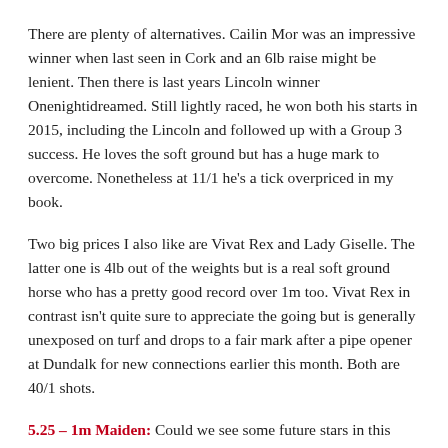There are plenty of alternatives. Cailin Mor was an impressive winner when last seen in Cork and an 6lb raise might be lenient. Then there is last years Lincoln winner Onenightidreamed. Still lightly raced, he won both his starts in 2015, including the Lincoln and followed up with a Group 3 success. He loves the soft ground but has a huge mark to overcome. Nonetheless at 11/1 he's a tick overpriced in my book.
Two big prices I also like are Vivat Rex and Lady Giselle. The latter one is 4lb out of the weights but is a real soft ground horse who has a pretty good record over 1m too. Vivat Rex in contrast isn't quite sure to appreciate the going but is generally unexposed on turf and drops to a fair mark after a pipe opener at Dundalk for new connections earlier this month. Both are 40/1 shots.
5.25 - 1m Maiden: Could we see some future stars in this